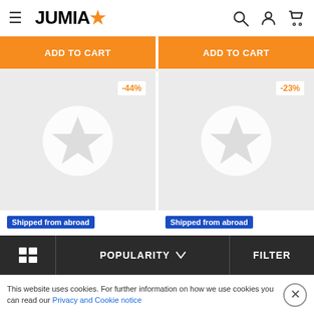JUMIA
[Figure (screenshot): Two orange ADD TO CART buttons side by side]
[Figure (screenshot): Two product card placeholders with discount badges -44% and -23%, showing star placeholder icons, and Shipped from abroad badges]
[Figure (screenshot): Bottom toolbar with grid icon, POPULARITY dropdown, and FILTER button]
This website uses cookies. For further information on how we use cookies you can read our Privacy and Cookie notice